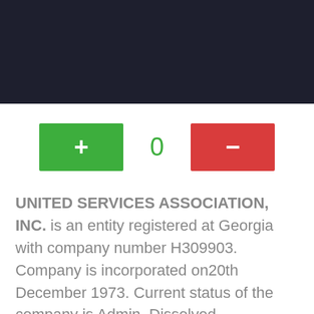[Figure (infographic): Counter widget with green plus button, 0 value in green, and red minus button]
UNITED SERVICES ASSOCIATION, INC. is an entity registered at Georgia with company number H309903. Company is incorporated on20th December 1973. Current status of the company is Admin. Dissolved.
Company information